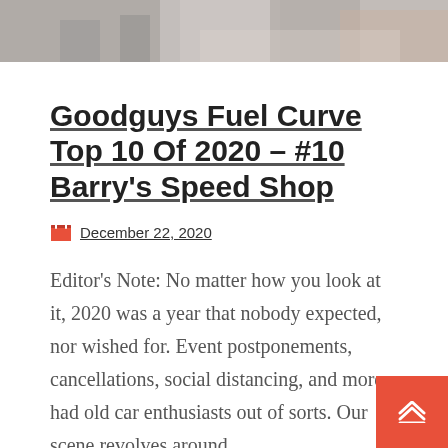[Figure (photo): Partial photo of a garage or auto shop scene, cropped at top]
Goodguys Fuel Curve Top 10 Of 2020 – #10 Barry's Speed Shop
December 22, 2020
Editor's Note: No matter how you look at it, 2020 was a year that nobody expected, nor wished for. Event postponements, cancellations, social distancing, and more had old car enthusiasts out of sorts. Our scene revolves around